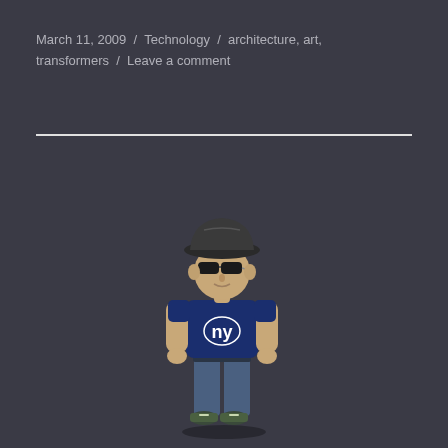March 11, 2009 / Technology / architecture, art, transformers / Leave a comment
[Figure (illustration): 3D animated avatar character wearing a black fedora hat, sunglasses, navy blue NY Giants t-shirt, jeans, and green sneakers, standing in a casual pose on a dark gray background.]